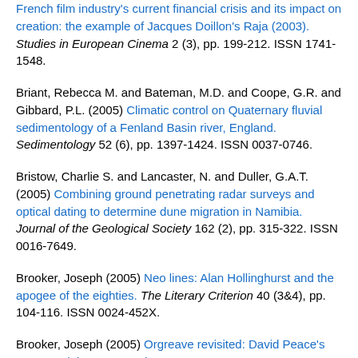French film industry's current financial crisis and its impact on creation: the example of Jacques Doillon's Raja (2003). Studies in European Cinema 2 (3), pp. 199-212. ISSN 1741-1548.
Briant, Rebecca M. and Bateman, M.D. and Coope, G.R. and Gibbard, P.L. (2005) Climatic control on Quaternary fluvial sedimentology of a Fenland Basin river, England. Sedimentology 52 (6), pp. 1397-1424. ISSN 0037-0746.
Bristow, Charlie S. and Lancaster, N. and Duller, G.A.T. (2005) Combining ground penetrating radar surveys and optical dating to determine dune migration in Namibia. Journal of the Geological Society 162 (2), pp. 315-322. ISSN 0016-7649.
Brooker, Joseph (2005) Neo lines: Alan Hollinghurst and the apogee of the eighties. The Literary Criterion 40 (3&4), pp. 104-116. ISSN 0024-452X.
Brooker, Joseph (2005) Orgreave revisited: David Peace's GB84 and the return to the